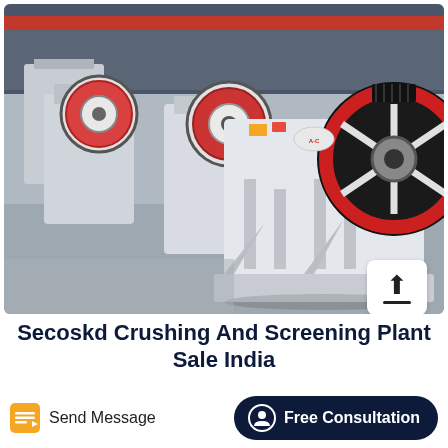[Figure (photo): Three jaw crushers with red and black flywheels on a factory floor, white painted heavy industrial machines lined up in a manufacturing facility with red overhead crane in background.]
Secoskd Crushing And Screening Plant Sale India
Send Message
Free Consultation